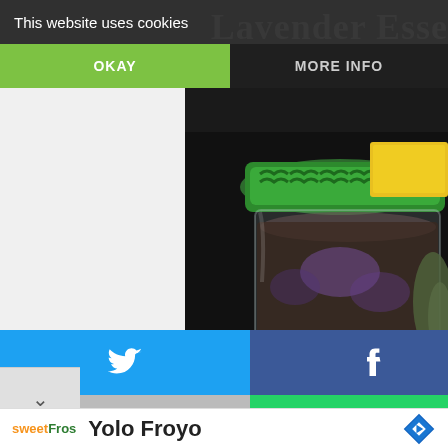This website uses cookies
OKAY
MORE INFO
Lavender Esse
[Figure (photo): Close-up photo of a glass jar with a green lid containing lavender/dried herbs, shot on a dark background]
[Figure (screenshot): Social sharing buttons: Twitter (blue), Facebook (dark blue), Email (gray), WhatsApp (green)]
Yolo Froyo
sweetFros